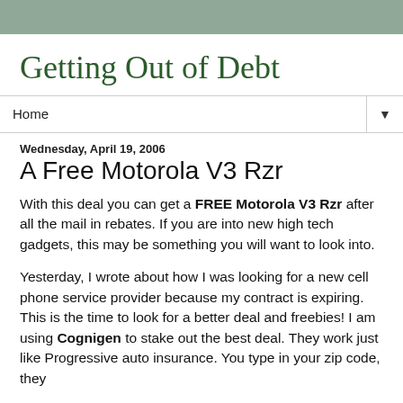Getting Out of Debt
Home
Wednesday, April 19, 2006
A Free Motorola V3 Rzr
With this deal you can get a FREE Motorola V3 Rzr after all the mail in rebates. If you are into new high tech gadgets, this may be something you will want to look into.
Yesterday, I wrote about how I was looking for a new cell phone service provider because my contract is expiring. This is the time to look for a better deal and freebies! I am using Cognigen to stake out the best deal. They work just like Progressive auto insurance. You type in your zip code, they